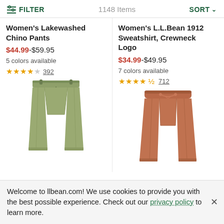⇌ FILTER    1148 Items    SORT ∨
Women's Lakewashed Chino Pants
$44.99-$59.95
5 colors available
★★★★☆ 392
[Figure (photo): Olive/khaki green women's chino pants displayed flat]
Women's L.L.Bean 1912 Sweatshirt, Crewneck Logo
$34.99-$49.95
7 colors available
★★★★½ 712
[Figure (photo): Rust/terracotta colored women's drawstring pants displayed flat]
Welcome to llbean.com! We use cookies to provide you with the best possible experience. Check out our privacy policy to learn more.